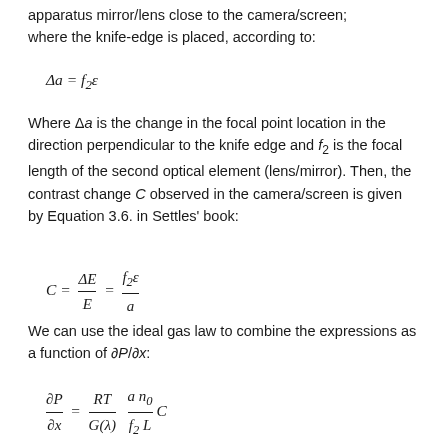apparatus mirror/lens close to the camera/screen; where the knife-edge is placed, according to:
Where Δa is the change in the focal point location in the direction perpendicular to the knife edge and f₂ is the focal length of the second optical element (lens/mirror). Then, the contrast change C observed in the camera/screen is given by Equation 3.6. in Settles' book:
We can use the ideal gas law to combine the expressions as a function of ∂P/∂x: